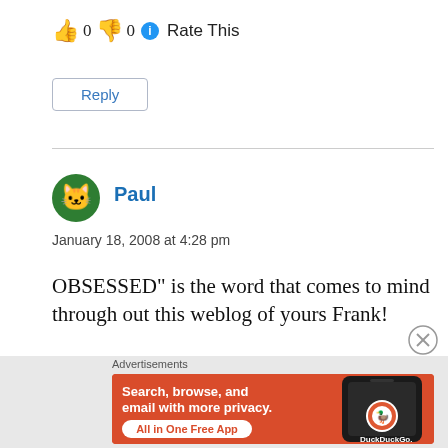👍 0 👎 0 ℹ Rate This
Reply
Paul
January 18, 2008 at 4:28 pm
OBSESSED" is the word that comes to mind through out this weblog of yours Frank!
Advertisements
[Figure (other): DuckDuckGo advertisement: Search, browse, and email with more privacy. All in One Free App]
[Figure (other): Close/dismiss button (circle with X)]